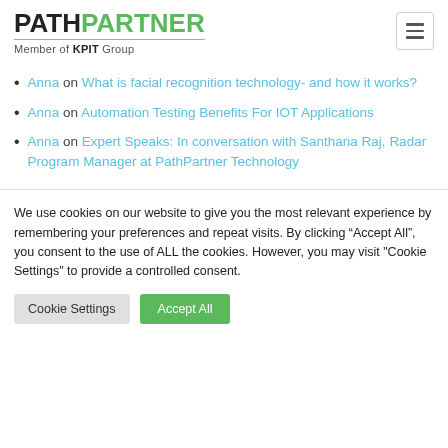PATHPARTNER Member of KPIT Group
Anna on What is facial recognition technology- and how it works?
Anna on Automation Testing Benefits For IOT Applications
Anna on Expert Speaks: In conversation with Santhana Raj, Radar Program Manager at PathPartner Technology
We use cookies on our website to give you the most relevant experience by remembering your preferences and repeat visits. By clicking “Accept All”, you consent to the use of ALL the cookies. However, you may visit "Cookie Settings" to provide a controlled consent.